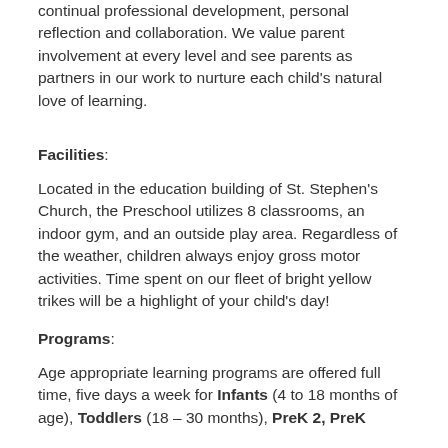continual professional development, personal reflection and collaboration. We value parent involvement at every level and see parents as partners in our work to nurture each child's natural love of learning.
Facilities:
Located in the education building of St. Stephen's Church, the Preschool utilizes 8 classrooms, an indoor gym, and an outside play area. Regardless of the weather, children always enjoy gross motor activities. Time spent on our fleet of bright yellow trikes will be a highlight of your child's day!
Programs:
Age appropriate learning programs are offered full time, five days a week for Infants (4 to 18 months of age), Toddlers (18 – 30 months), PreK 2, PreK